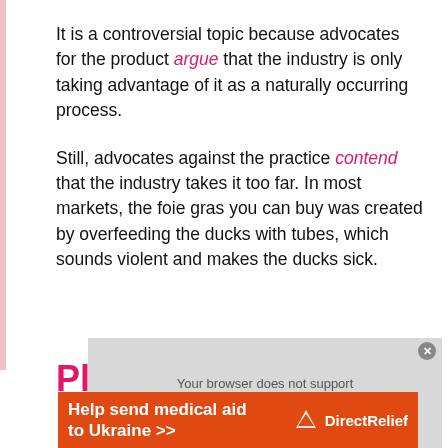It is a controversial topic because advocates for the product argue that the industry is only taking advantage of it as a naturally occurring process.
Still, advocates against the practice contend that the industry takes it too far. In most markets, the foie gras you can buy was created by overfeeding the ducks with tubes, which sounds violent and makes the ducks sick.
Plucking of Live Ducks